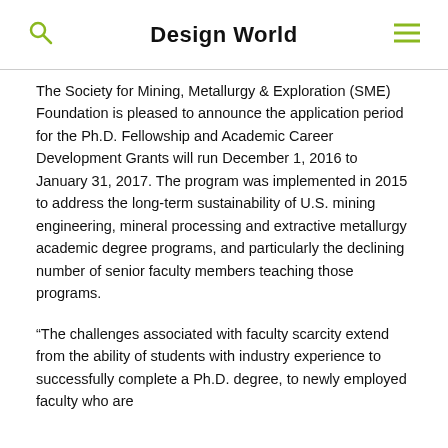Design World
The Society for Mining, Metallurgy & Exploration (SME) Foundation is pleased to announce the application period for the Ph.D. Fellowship and Academic Career Development Grants will run December 1, 2016 to January 31, 2017. The program was implemented in 2015 to address the long-term sustainability of U.S. mining engineering, mineral processing and extractive metallurgy academic degree programs, and particularly the declining number of senior faculty members teaching those programs.
“The challenges associated with faculty scarcity extend from the ability of students with industry experience to successfully complete a Ph.D. degree, to newly employed faculty who are